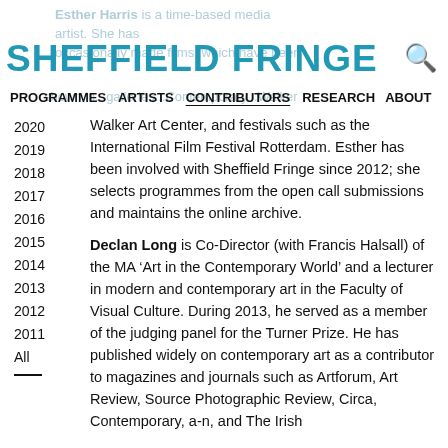SHEFFIELD FRINGE
Esther Harris is a time-based media artist. She has occasionally made films, which have been shown in...
PROGRAMMES  ARTISTS  CONTRIBUTORS  RESEARCH  ABOUT
Walker Art Center, and festivals such as the International Film Festival Rotterdam. Esther has been involved with Sheffield Fringe since 2012; she selects programmes from the open call submissions and maintains the online archive.
2020
2019
2018
2017
2016
2015
2014
2013
2012
2011
All
Declan Long is Co-Director (with Francis Halsall) of the MA ‘Art in the Contemporary World’ and a lecturer in modern and contemporary art in the Faculty of Visual Culture. During 2013, he served as a member of the judging panel for the Turner Prize. He has published widely on contemporary art as a contributor to magazines and journals such as Artforum, Art Review, Source Photographic Review, Circa, Contemporary, a-n, and The Irish